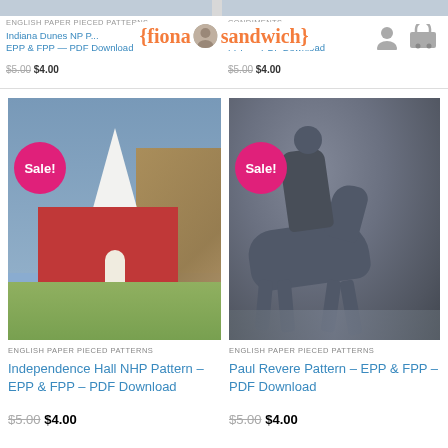{fiona sandwich}
ENGLISH PAPER PIECED PATTERNS
Indiana Dunes NP P... — EPP & FPP — PDF Download
$5.00 $4.00
CONDIMENTS
...ts Pattern FPP — PDF Download
$5.00 $4.00
[Figure (photo): Quilt fabric art of Independence Hall with a white steeple church on blue fabric background, red building base, green grass, Sale! badge]
ENGLISH PAPER PIECED PATTERNS
Independence Hall NHP Pattern – EPP & FPP – PDF Download
$5.00 $4.00
[Figure (photo): Quilt fabric art of Paul Revere on horseback, gray fabric silhouette against dark fabric background, Sale! badge]
ENGLISH PAPER PIECED PATTERNS
Paul Revere Pattern – EPP & FPP – PDF Download
$5.00 $4.00